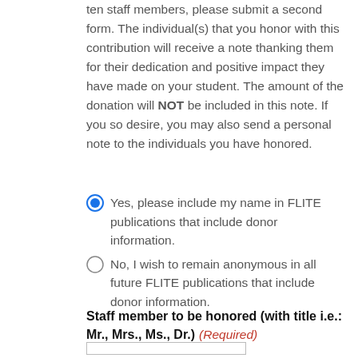ten staff members, please submit a second form. The individual(s) that you honor with this contribution will receive a note thanking them for their dedication and positive impact they have made on your student. The amount of the donation will NOT be included in this note. If you so desire, you may also send a personal note to the individuals you have honored.
Yes, please include my name in FLITE publications that include donor information.
No, I wish to remain anonymous in all future FLITE publications that include donor information.
Staff member to be honored (with title i.e.: Mr., Mrs., Ms., Dr.) (Required)